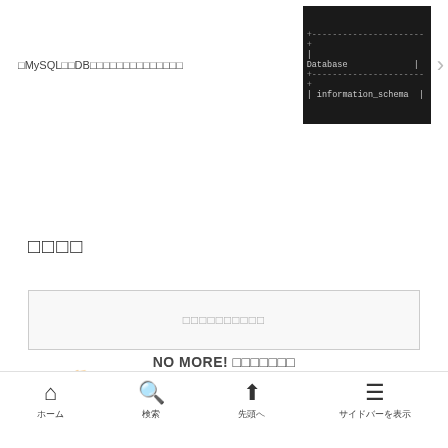[Figure (screenshot): Screenshot of MySQL database listing showing 'Database' header and 'information_schema' entry in a dark terminal/console style interface]
MySQLのDBに接続できている状態でSHOW
投稿検索
キーワードを入力してください
ホーム > Webdev
NO MORE! ページが見つかりません
ホーム 検索 先頭へ サイドバーを表示